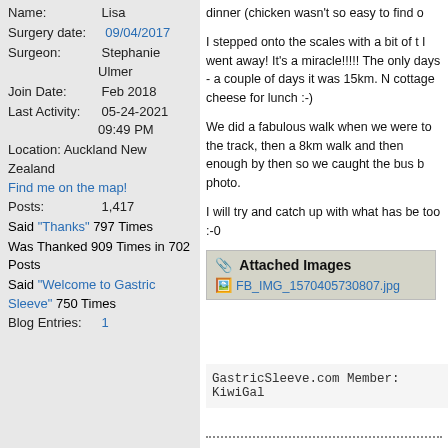Name: Lisa
Surgery date: 09/04/2017
Surgeon: Stephanie Ulmer
Join Date: Feb 2018
Last Activity: 05-24-2021 09:49 PM
Location: Auckland New Zealand
Find me on the map!
Posts: 1,417
Said "Thanks" 797 Times
Was Thanked 909 Times in 702 Posts
Said "Welcome to Gastric Sleeve" 750 Times
Blog Entries: 1
dinner (chicken wasn't so easy to find o
I stepped onto the scales with a bit of t I went away! It's a miracle!!!!! The only days - a couple of days it was 15km. N cottage cheese for lunch :-)
We did a fabulous walk when we were to the track, then a 8km walk and then enough by then so we caught the bus b photo.
I will try and catch up with what has be too :-0
[Figure (other): Attached Images section with paperclip icon and file link FB_IMG_1570405730807.jpg]
GastricSleeve.com Member: KiwiGal